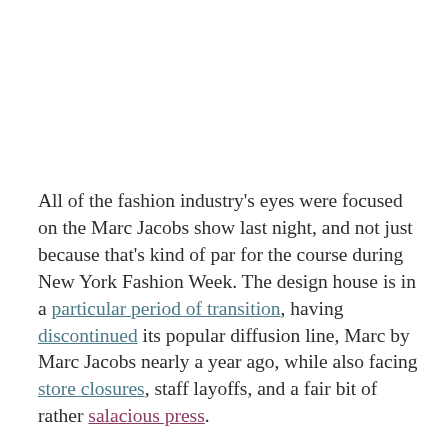All of the fashion industry's eyes were focused on the Marc Jacobs show last night, and not just because that's kind of par for the course during New York Fashion Week. The design house is in a particular period of transition, having discontinued its popular diffusion line, Marc by Marc Jacobs nearly a year ago, while also facing store closures, staff layoffs, and a fair bit of rather salacious press.
But last night, no one's attention inside the Park Avenue Armory was focused on all that — how could it be, what